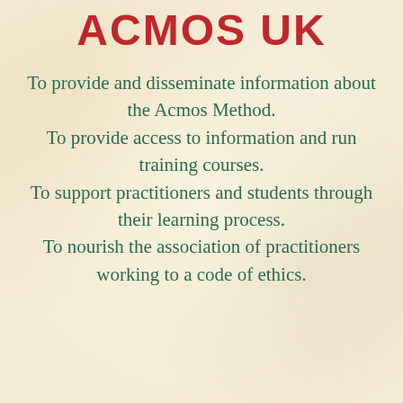ACMOS UK
To provide and disseminate information about the Acmos Method.
To provide access to information and run training courses.
To support practitioners and students through their learning process.
To nourish the association of practitioners working to a code of ethics.